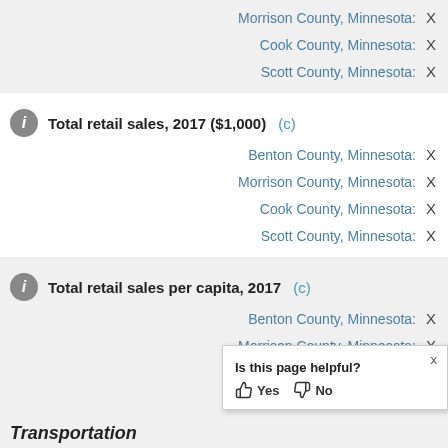Morrison County, Minnesota: X
Cook County, Minnesota: X
Scott County, Minnesota: X
Total retail sales, 2017 ($1,000) (c)
Benton County, Minnesota: X
Morrison County, Minnesota: X
Cook County, Minnesota: X
Scott County, Minnesota: X
Total retail sales per capita, 2017 (c)
Benton County, Minnesota: X
Morrison County, Minnesota: X
Cook County, Minnesota: X
Scott County, Minnesota: X
Transportation
Is this page helpful? Yes No